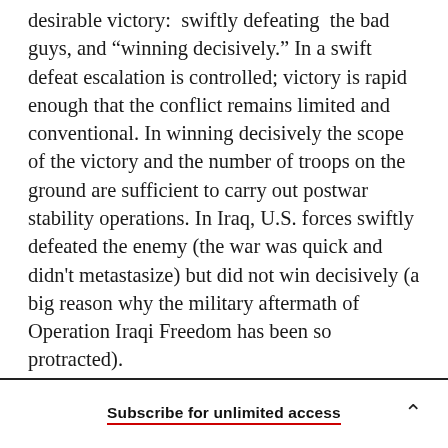desirable victory:  swiftly defeating  the bad guys, and “winning decisively.” In a swift defeat escalation is controlled; victory is rapid enough that the conflict remains limited and conventional. In winning decisively the scope of the victory and the number of troops on the ground are sufficient to carry out postwar stability operations. In Iraq, U.S. forces swiftly defeated the enemy (the war was quick and didn't metastasize) but did not win decisively (a big reason why the military aftermath of Operation Iraqi Freedom has been so protracted).
Subscribe for unlimited access